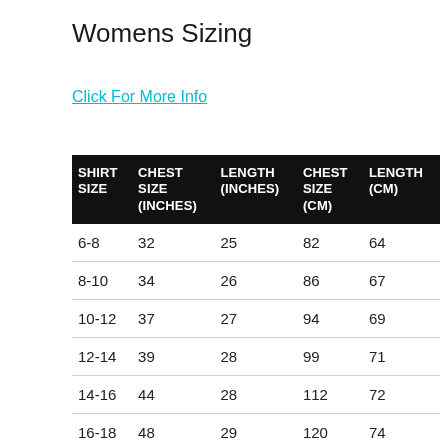Womens Sizing
Click For More Info
| SHIRT SIZE | CHEST SIZE (INCHES) | LENGTH (INCHES) | CHEST SIZE (CM) | LENGTH (CM) |
| --- | --- | --- | --- | --- |
| 6-8 | 32 | 25 | 82 | 64 |
| 8-10 | 34 | 26 | 86 | 67 |
| 10-12 | 37 | 27 | 94 | 69 |
| 12-14 | 39 | 28 | 99 | 71 |
| 14-16 | 44 | 28 | 112 | 72 |
| 16-18 | 48 | 29 | 120 | 74 |